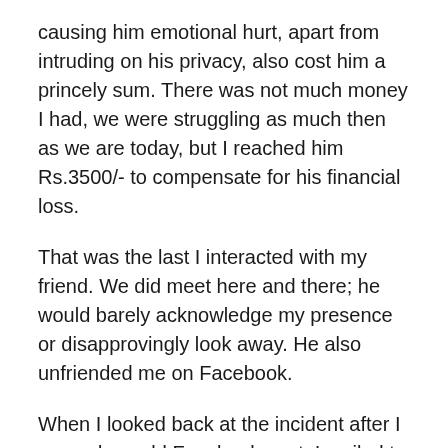causing him emotional hurt, apart from intruding on his privacy, also cost him a princely sum. There was not much money I had, we were struggling as much then as we are today, but I reached him Rs.3500/- to compensate for his financial loss.
That was the last I interacted with my friend. We did meet here and there; he would barely acknowledge my presence or disapprovingly look away. He also unfriended me on Facebook.
When I looked back at the incident after I re-read my old Facebook post, I smiled to myself. What a powerful lesson this painful episode had taught me! Which is to move on, to emotionally free myself from an incident and its fallout. This is how I have remained without suffering although the pain from it all sometimes comes back trying to stir my